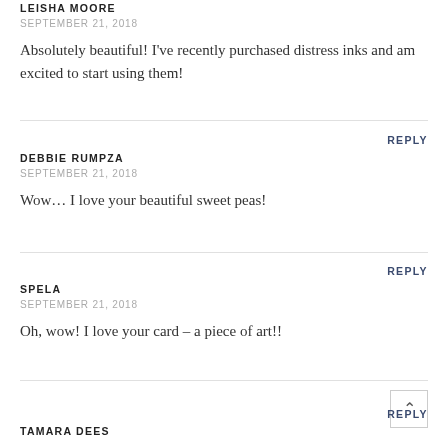LEISHA MOORE
SEPTEMBER 21, 2018
Absolutely beautiful! I've recently purchased distress inks and am excited to start using them!
REPLY
DEBBIE RUMPZA
SEPTEMBER 21, 2018
Wow… I love your beautiful sweet peas!
REPLY
SPELA
SEPTEMBER 21, 2018
Oh, wow! I love your card – a piece of art!!
REPLY
TAMARA DEES